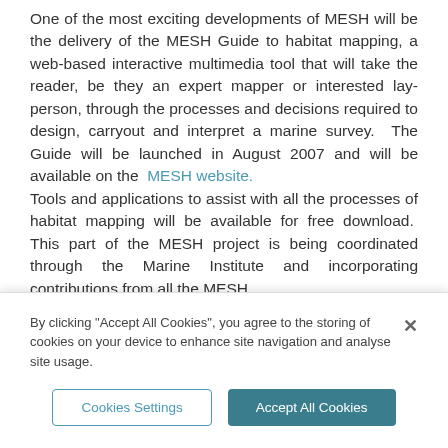One of the most exciting developments of MESH will be the delivery of the MESH Guide to habitat mapping, a web-based interactive multimedia tool that will take the reader, be they an expert mapper or interested lay-person, through the processes and decisions required to design, carryout and interpret a marine survey. The Guide will be launched in August 2007 and will be available on the MESH website. Tools and applications to assist with all the processes of habitat mapping will be available for free download. This part of the MESH project is being coordinated through the Marine Institute and incorporating contributions from all the MESH...
By clicking "Accept All Cookies", you agree to the storing of cookies on your device to enhance site navigation and analyse site usage.